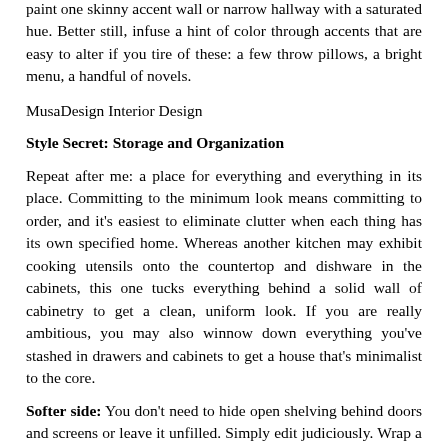paint one skinny accent wall or narrow hallway with a saturated hue. Better still, infuse a hint of color through accents that are easy to alter if you tire of these: a few throw pillows, a bright menu, a handful of novels.
MusaDesign Interior Design
Style Secret: Storage and Organization
Repeat after me: a place for everything and everything in its place. Committing to the minimum look means committing to order, and it's easiest to eliminate clutter when each thing has its own specified home. Whereas another kitchen may exhibit cooking utensils onto the countertop and dishware in the cabinets, this one tucks everything behind a solid wall of cabinetry to get a clean, uniform look. If you are really ambitious, you may also winnow down everything you've stashed in drawers and cabinets to get a house that's minimalist to the core.
Softer side: You don't need to hide open shelving behind doors and screens or leave it unfilled. Simply edit judiciously. Wrap a small stack of novels in white paper covers, eliminate all but one